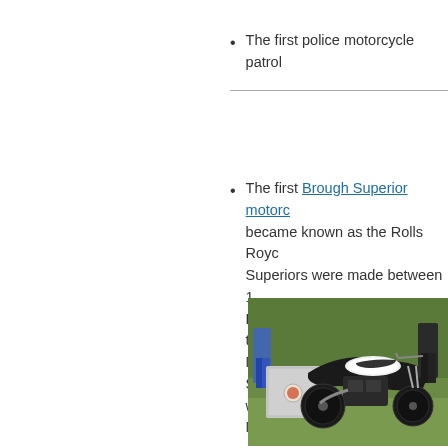The first police motorcycle patrol
The first Brough Superior motorcycle became known as the Rolls Royce... Superiors were made between 1... Lawrence of Arabia owned 7 of th... Model variants were known as S... were provided by JAP & Matchles...
[Figure (photo): A Brough Superior motorcycle displayed on grass at what appears to be a motorcycle show, with people visible in the background. The motorcycle has a distinctive white fuel tank and a sidecar-style luggage case attached.]